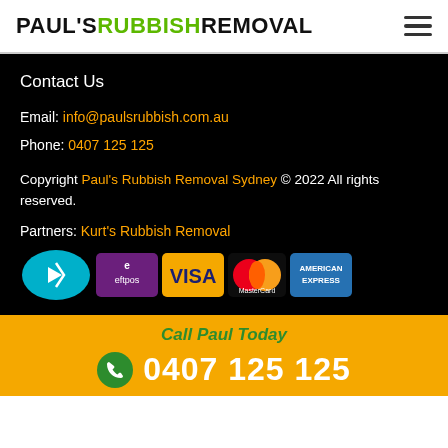PAUL'S RUBBISH REMOVAL
Contact Us
Email: info@paulsrubbish.com.au
Phone: 0407 125 125
Copyright Paul's Rubbish Removal Sydney © 2022 All rights reserved.
Partners: Kurt's Rubbish Removal
[Figure (logo): Payment method logos: Afterpay, eftpos, VISA, MasterCard, American Express]
Call Paul Today
0407 125 125